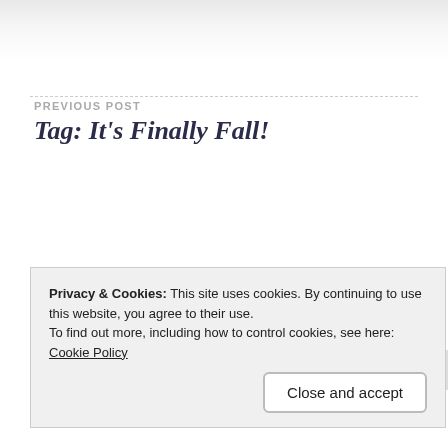PREVIOUS POST
Tag: It’s Finally Fall!
NEXT POST
What I’ve been up to
Privacy & Cookies: This site uses cookies. By continuing to use this website, you agree to their use.
To find out more, including how to control cookies, see here:
Cookie Policy
Close and accept